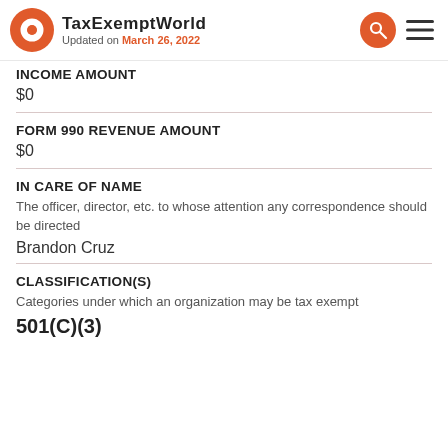TaxExemptWorld — Updated on March 26, 2022
INCOME AMOUNT
$0
FORM 990 REVENUE AMOUNT
$0
IN CARE OF NAME
The officer, director, etc. to whose attention any correspondence should be directed
Brandon Cruz
CLASSIFICATION(S)
Categories under which an organization may be tax exempt
501(C)(3)